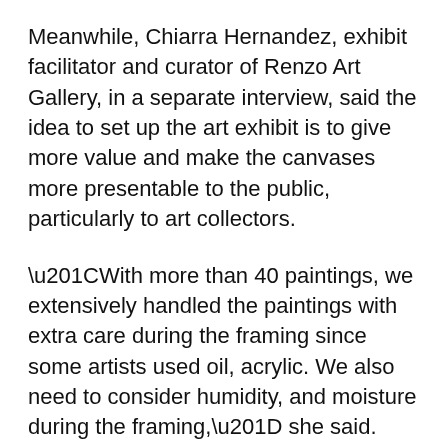Meanwhile, Chiarra Hernandez, exhibit facilitator and curator of Renzo Art Gallery, in a separate interview, said the idea to set up the art exhibit is to give more value and make the canvases more presentable to the public, particularly to art collectors.
“With more than 40 paintings, we extensively handled the paintings with extra care during the framing since some artists used oil, acrylic. We also need to consider humidity, and moisture during the framing,” she said.
As a curator who can appreciate visual arts, Hernandez said using abaca papers as canvas shows that the the canvases share the…